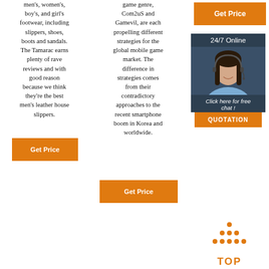men's, women's, boy's, and girl's footwear, including slippers, shoes, boots and sandals. The Tamarac earns plenty of rave reviews and with good reason because we think they're the best men's leather house slippers.
[Figure (other): Orange 'Get Price' button (left column)]
game genre, Com2uS and Gamevil, are each propelling different strategies for the global mobile game market. The difference in strategies comes from their contradictory approaches to the recent smartphone boom in Korea and worldwide.
[Figure (other): Orange 'Get Price' button (middle column)]
[Figure (other): Orange 'Get Price' button (right sidebar top)]
[Figure (other): 24/7 Online customer service chat panel with photo of woman with headset, 'Click here for free chat!' text, and orange QUOTATION button]
[Figure (other): Orange TOP icon with dot-pattern triangle above 'TOP' text]